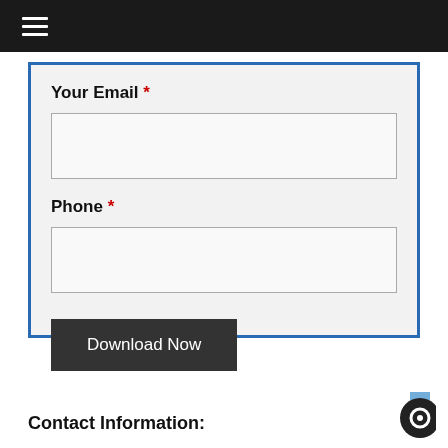≡
Your Email *
Phone *
Download Now
Contact Information: